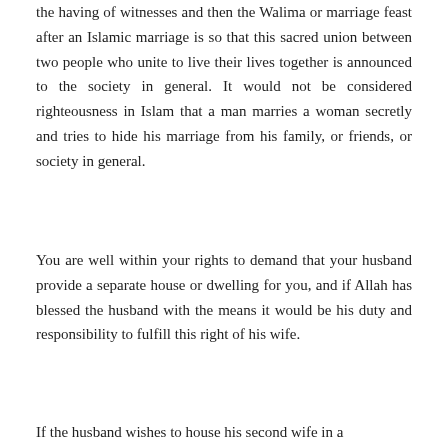the having of witnesses and then the Walima or marriage feast after an Islamic marriage is so that this sacred union between two people who unite to live their lives together is announced to the society in general. It would not be considered righteousness in Islam that a man marries a woman secretly and tries to hide his marriage from his family, or friends, or society in general.
You are well within your rights to demand that your husband provide a separate house or dwelling for you, and if Allah has blessed the husband with the means it would be his duty and responsibility to fulfill this right of his wife.
If the husband wishes to house his second wife in a